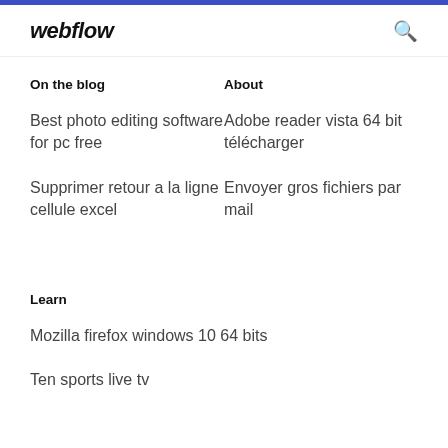webflow
On the blog
About
Best photo editing software for pc free
Adobe reader vista 64 bit télécharger
Supprimer retour a la ligne cellule excel
Envoyer gros fichiers par mail
Learn
Mozilla firefox windows 10 64 bits
Ten sports live tv